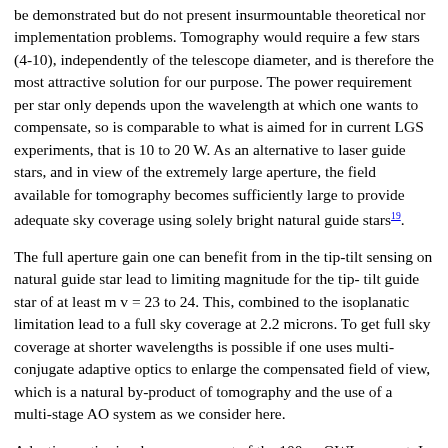be demonstrated but do not present insurmountable theoretical nor implementation problems. Tomography would require a few stars (4-10), independently of the telescope diameter, and is therefore the most attractive solution for our purpose. The power requirement per star only depends upon the wavelength at which one wants to compensate, so is comparable to what is aimed for in current LGS experiments, that is 10 to 20 W. As an alternative to laser guide stars, and in view of the extremely large aperture, the field available for tomography becomes sufficiently large to provide adequate sky coverage using solely bright natural guide stars[19].
The full aperture gain one can benefit from in the tip-tilt sensing on natural guide star lead to limiting magnitude for the tip-tilt guide star of at least m v = 23 to 24. This, combined to the isoplanatic limitation lead to a full sky coverage at 2.2 microns. To get full sky coverage at shorter wavelengths is possible if one uses multi-conjugate adaptive optics to enlarge the compensated field of view, which is a natural by-product of tomography and the use of a multi-stage AO system as we consider here.
Adaptive optics is a key component of the 100-m OWL concept. In summary, if the problem of turbulence tomography is assumed solved, there is no fundamental limitation for AO going on such large telescopes, where the gain in angular resolution and